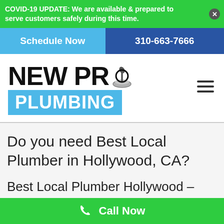COVID-19 UPDATE: We are available & prepared to serve customers safely during this time.
Schedule Now | 310-663-7666
[Figure (logo): New Pro Plumbing logo with plunger icon replacing the O in PRO, and PLUMBING on a blue background bar]
Do you need Best Local Plumber in Hollywood, CA?
Best Local Plumber Hollywood – TrustNew Pro Plumbing
Call Now